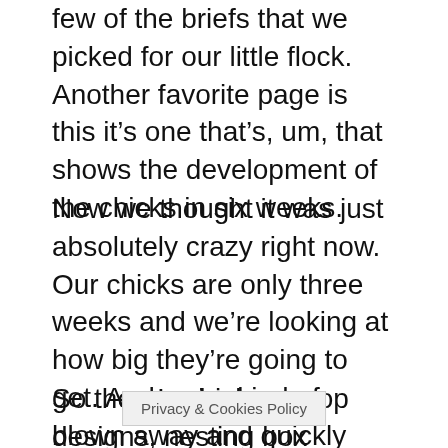few of the briefs that we picked for our little flock. Another favorite page is this it's one that's, um, that shows the development of the chicks in six weeks.
Now we thought it was just absolutely crazy right now. Our chicks are only three weeks and we're looking at how big they're going to get. And we're kind of blown away and quickly realizing that we need to get ready for that.
So there's chicken coop designs, nesting box suggestions, and of
Privacy & Cookies Policy